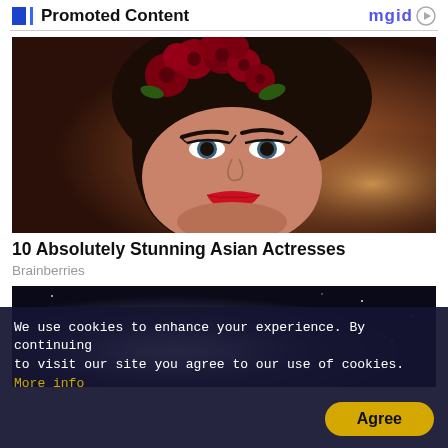Promoted Content  mgid
[Figure (photo): Portrait of a woman with red roses in her hair and red lipstick, dramatic makeup, dark background]
10 Absolutely Stunning Asian Actresses
Brainberries
[Figure (photo): Dark space/galaxy image with bright light in center]
We use cookies to enhance your experience. By continuing to visit our site you agree to our use of cookies. More info